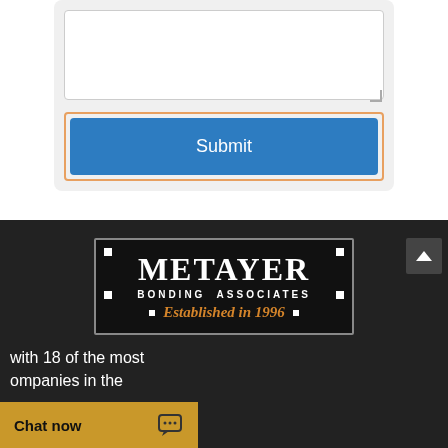[Figure (screenshot): A web form card with a textarea and an orange-bordered Submit button (blue background, white text).]
[Figure (logo): Metayer Bonding Associates logo on black background with white corners, white text 'METAYER' in large serif, 'BONDING ASSOCIATES' in small caps, and 'Established in 1996' in gold italic.]
with 18 of the most companies in the
[Figure (screenshot): Chat now bar in gold/brown color with chat icon, at the bottom left.]